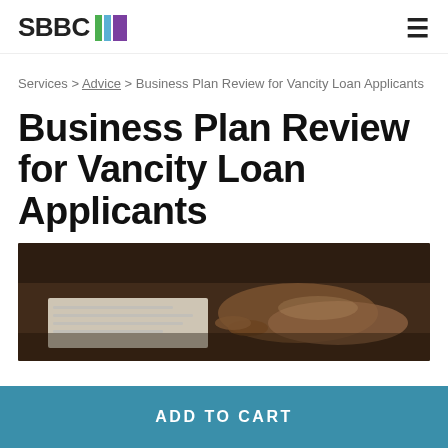SBBC
Services > Advice > Business Plan Review for Vancity Loan Applicants
Business Plan Review for Vancity Loan Applicants
[Figure (photo): Person's hands reviewing documents on a desk, dark/moody lighting]
ADD TO CART